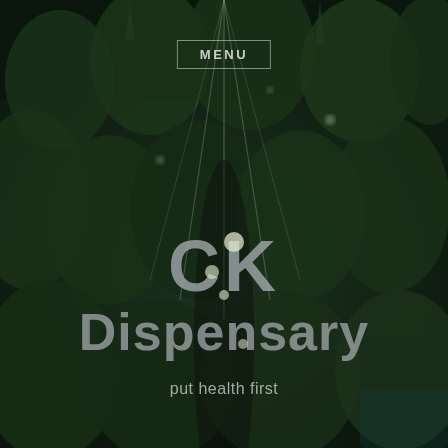[Figure (photo): Aerial or overhead view of a lush cannabis/marijuana plant cultivation field, dark green foliage densely packed, with grow lines/supports visible overhead, dark moody lighting.]
MENU
CK Dispensary
put health first